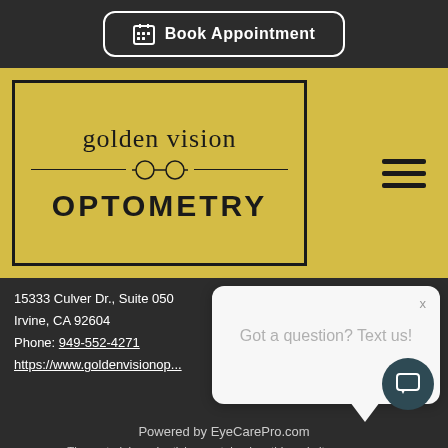[Figure (screenshot): Book Appointment button with calendar icon, dark background]
[Figure (logo): Golden Vision Optometry logo in yellow box with glasses icon divider]
15333 Culver Dr., Suite 050
Irvine, CA 92604
Phone: 949-552-4271
https://www.goldenvisionop...
[Figure (screenshot): Chat popup: Got a question? Text us!]
Powered by EyeCarePro.com
The materials and articles contained on this website are copy.
and protected under Title 17 of the United States Code.